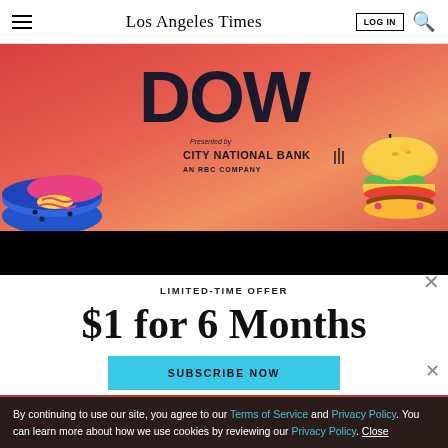Los Angeles Times
[Figure (illustration): Advertisement banner for LA Times Food Bowl presented by City National Bank, an RBC Company. Pink/coral background with illustrated sushi on the left and a burger on the right, with large 'DOW' text at the top.]
LIMITED-TIME OFFER
$1 for 6 Months
SUBSCRIBE NOW
By continuing to use our site, you agree to our Terms of Service and Privacy Policy. You can learn more about how we use cookies by reviewing our Privacy Policy.
Close